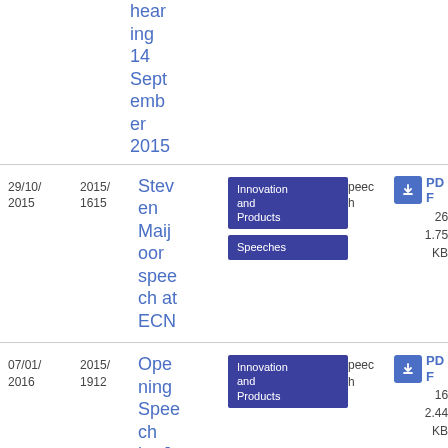hearing 14 September 2015
| Date | ID | Title | Tags | Type | Download |
| --- | --- | --- | --- | --- | --- |
| 29/10/2015 | 2015/1615 | Steven Maijoor speech at ECN | Innovation and Products, Speeches | Speech | PDF 26 1.75 KB |
| 07/01/2016 | 2015/1912 | Opening Speech by J Serv... | Innovation and Products | Speech | PDF 16 2.44 KB |